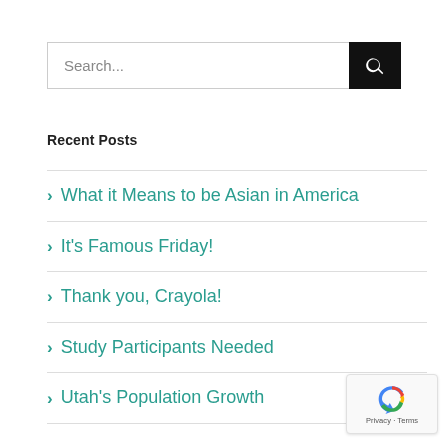Search...
Recent Posts
What it Means to be Asian in America
It's Famous Friday!
Thank you, Crayola!
Study Participants Needed
Utah's Population Growth
[Figure (logo): Google reCAPTCHA badge with Privacy and Terms links]